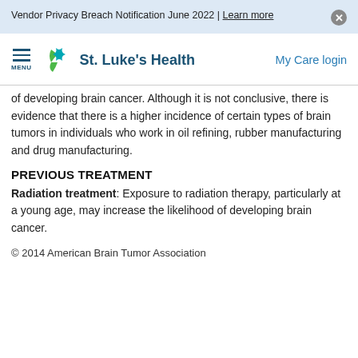Vendor Privacy Breach Notification June 2022 | Learn more
[Figure (logo): St. Luke's Health logo with teal/green star graphic and navigation menu icon, plus 'My Care login' link]
of developing brain cancer. Although it is not conclusive, there is evidence that there is a higher incidence of certain types of brain tumors in individuals who work in oil refining, rubber manufacturing and drug manufacturing.
PREVIOUS TREATMENT
Radiation treatment: Exposure to radiation therapy, particularly at a young age, may increase the likelihood of developing brain cancer.
© 2014 American Brain Tumor Association